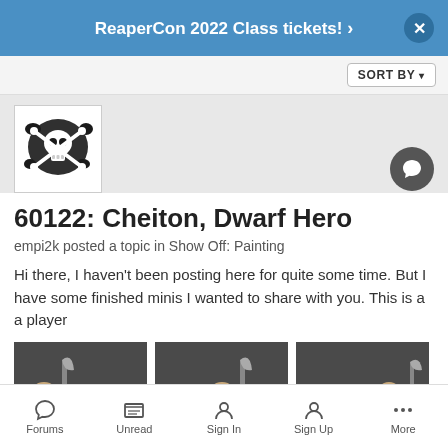ReaperCon 2022 Class tickets! ›
SORT BY ▾
[Figure (logo): Reaper Miniatures skull crossbones logo avatar]
60122: Cheiton, Dwarf Hero
empi2k posted a topic in Show Off: Painting
Hi there, I haven't been posting here for quite some time. But I have some finished minis I wanted to share with you. This is a a player
[Figure (photo): Three painted dwarf miniature figures on dark background - three separate photos side by side]
March 2, 2018   2 replies   27
Forums   Unread   Sign In   Sign Up   More